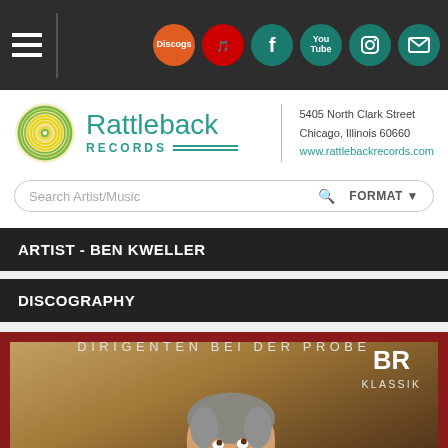Rattleback Records navigation bar with social media icons
[Figure (logo): Rattleback Records logo with circular vinyl record graphic in yellow and green, store name, address: 5405 North Clark Street, Chicago, Illinois 60660, www.rattlebackrecords.com]
Search Artist/Music  FORMAT
ARTIST - BEN KWELLER
DISCOGRAPHY
[Figure (photo): Album cover with red border showing a conductor looking upward, with text 'DIRIGENTEN BEI DER PROBE' and BR KLASSIK logo in upper right]